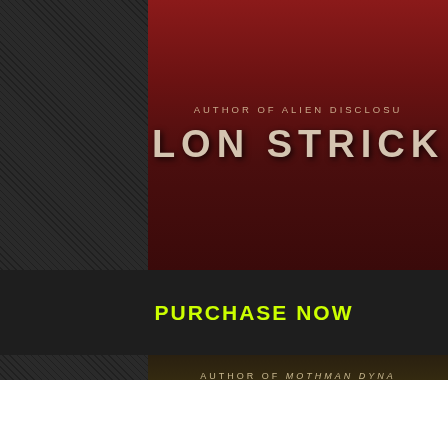[Figure (illustration): Book cover top portion showing author byline 'AUTHOR OF ALIEN DISCLOSU...' and author name 'LON STRICK...' in large letters on a dark red textured wood background]
PURCHASE NOW
[Figure (illustration): Book cover bottom portion showing author byline 'AUTHOR OF MOTHMAN DYNA...' and author name 'LON STRICK...' in large letters on a dark aged document/wood background with dark drip marks and text 'We believe that alien civilizations...']